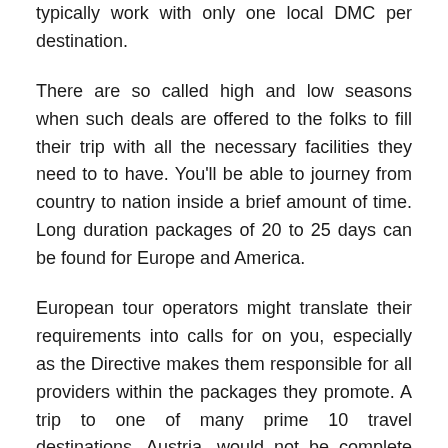typically work with only one local DMC per destination.
There are so called high and low seasons when such deals are offered to the folks to fill their trip with all the necessary facilities they need to to have. You'll be able to journey from country to nation inside a brief amount of time. Long duration packages of 20 to 25 days can be found for Europe and America.
European tour operators might translate their requirements into calls for on you, especially as the Directive makes them responsible for all providers within the packages they promote. A trip to one of many prime 10 travel destinations, Austria, would not be complete and not using a skiing adventure.
You can now fulfill your goals to get your ft on an exciting tour of the Europe. I have been trekking in Central Asia, on